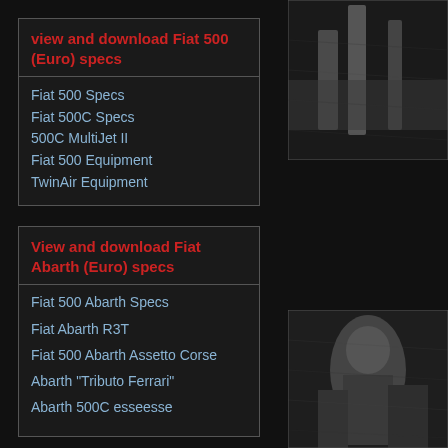view and download Fiat 500 (Euro) specs
Fiat 500 Specs
Fiat 500C Specs
500C MultiJet II
Fiat 500 Equipment
TwinAir Equipment
[Figure (photo): Black and white photograph, partially visible at top right, showing trees or poles]
View and download Fiat Abarth (Euro) specs
Vittorio Jano was responsible supercharger.
Fiat 500 Abarth Specs
Fiat Abarth R3T
Fiat 500 Abarth Assetto Corse
Abarth "Tributo Ferrari"
Abarth 500C esseesse
[Figure (photo): Black and white photograph at bottom right, partially visible, showing a person or figure]